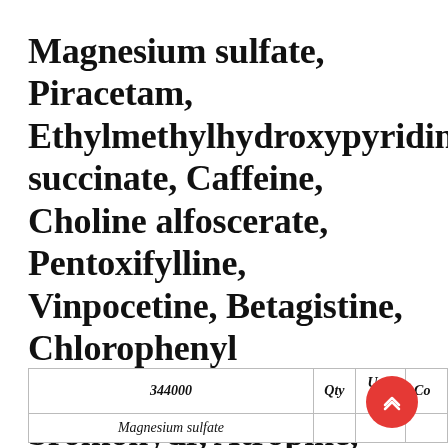Magnesium sulfate, Piracetam, Ethylmethylhydroxypyridine succinate, Caffeine, Choline alfoscerate, Pentoxifylline, Vinpocetine, Betagistine, Chlorophenyl benzodiazepine bromohydr, Atropine, Chlorpromazine
| 344000 | Qty | Unit price | Co |
| --- | --- | --- | --- |
| Magnesium sulfate |  |  |  |